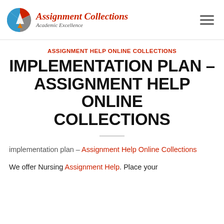Assignment Collections – Academic Excellence
ASSIGNMENT HELP ONLINE COLLECTIONS
IMPLEMENTATION PLAN – ASSIGNMENT HELP ONLINE COLLECTIONS
implementation plan – Assignment Help Online Collections
We offer Nursing Assignment Help. Place your